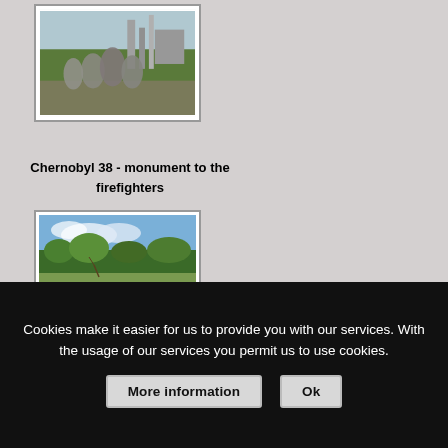[Figure (photo): Photograph of a Chernobyl monument showing firefighter statues with industrial structures in the background]
Chernobyl 38 - monument to the firefighters
[Figure (photo): Photograph of an overgrown field with trees and blue sky, near Chernobyl]
Cookies make it easier for us to provide you with our services. With the usage of our services you permit us to use cookies.
More information
Ok